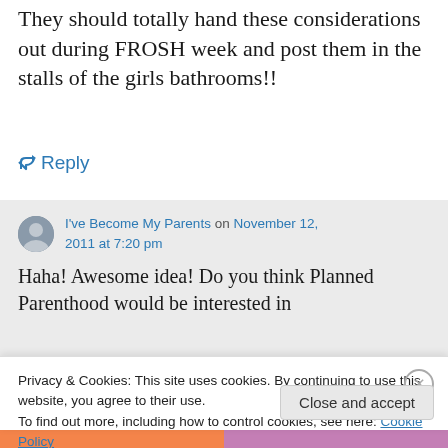They should totally hand these considerations out during FROSH week and post them in the stalls of the girls bathrooms!!
↪ Reply
I've Become My Parents on November 12, 2011 at 7:20 pm
Haha! Awesome idea! Do you think Planned Parenthood would be interested in
Privacy & Cookies: This site uses cookies. By continuing to use this website, you agree to their use.
To find out more, including how to control cookies, see here: Cookie Policy
Close and accept